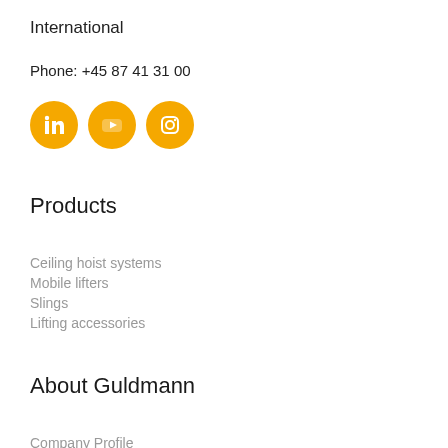International
Phone: +45 87 41 31 00
[Figure (illustration): Three social media icons (LinkedIn, YouTube, Instagram) as yellow/amber circles with white icons]
Products
Ceiling hoist systems
Mobile lifters
Slings
Lifting accessories
About Guldmann
Company Profile
Career